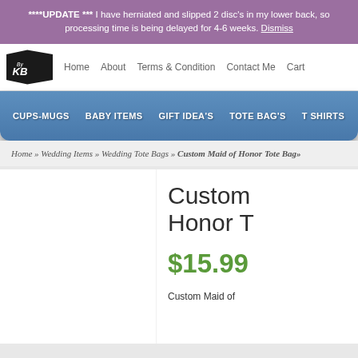****UPDATE *** I have herniated and slipped 2 disc's in my lower back, so processing time is being delayed for 4-6 weeks. Dismiss
Home   About   Terms & Condition   Contact Me   Cart
CUPS-MUGS   BABY ITEMS   GIFT IDEA'S   TOTE BAG'S   T SHIRTS   HOLID…
Home » Wedding Items » Wedding Tote Bags » Custom Maid of Honor Tote Bag»
Custom Maid of Honor T…
$15.99
Custom Maid of…